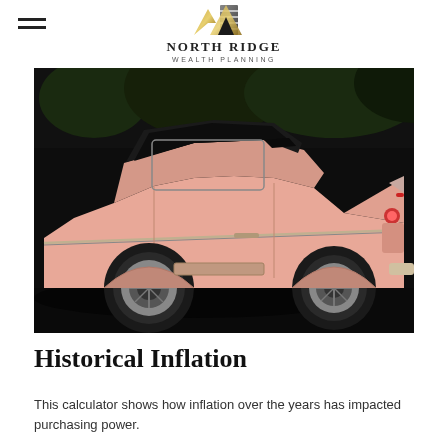North Ridge Wealth Planning
[Figure (photo): Side view of a vintage pink Cadillac automobile with tail fins, photographed against a dark background with trees.]
Historical Inflation
This calculator shows how inflation over the years has impacted purchasing power.